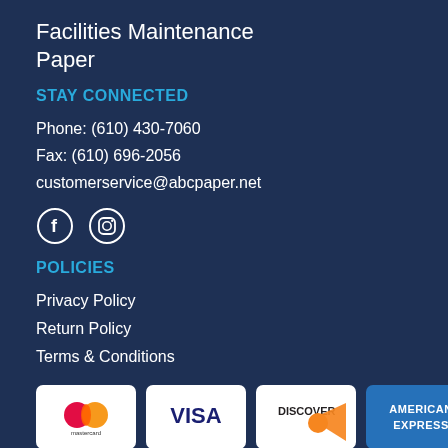Facilities Maintenance
Paper
STAY CONNECTED
Phone: (610) 430-7060
Fax: (610) 696-2056
customerservice@abcpaper.net
[Figure (illustration): Facebook and Instagram social media icons (circle outlines with F and camera symbols)]
POLICIES
Privacy Policy
Return Policy
Terms & Conditions
[Figure (logo): Payment method logos: Mastercard, Visa, Discover, American Express]